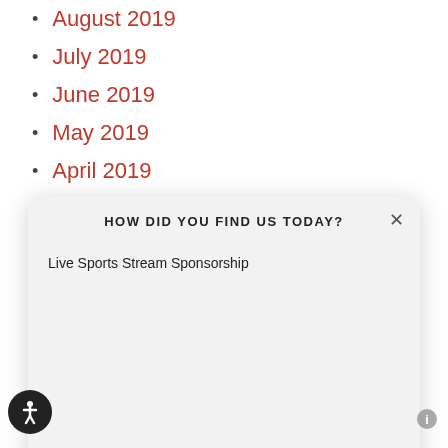August 2019
July 2019
June 2019
May 2019
April 2019
March 2019
February 2019
HOW DID YOU FIND US TODAY?
Live Sports Stream Sponsorship
Other (please specify)
SUBMIT